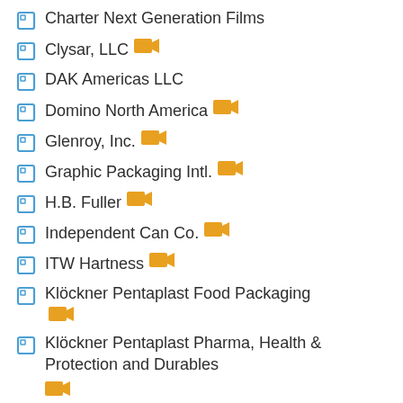Charter Next Generation Films
Clysar, LLC [video]
DAK Americas LLC
Domino North America [video]
Glenroy, Inc. [video]
Graphic Packaging Intl. [video]
H.B. Fuller [video]
Independent Can Co. [video]
ITW Hartness [video]
Klöckner Pentaplast Food Packaging [video]
Klöckner Pentaplast Pharma, Health & Protection and Durables [video]
Michelman Inc.
Novambal